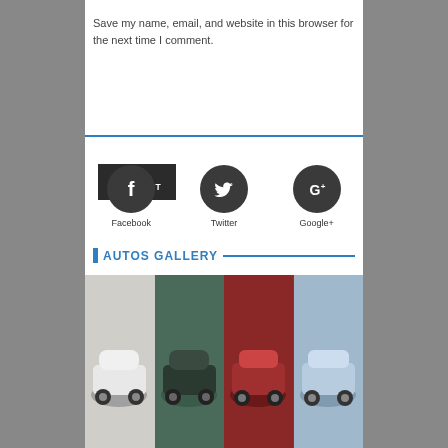Save my name, email, and website in this browser for the next time I comment.
SUBMIT COMMENT
[Figure (other): Social media icons row with Facebook, Twitter, and Google+ circular dark buttons with labels below]
AUTOS GALLERY
[Figure (photo): Row of four car photos: white supercar, dark blue supercar, red Tesla, light blue Chevy Spark]